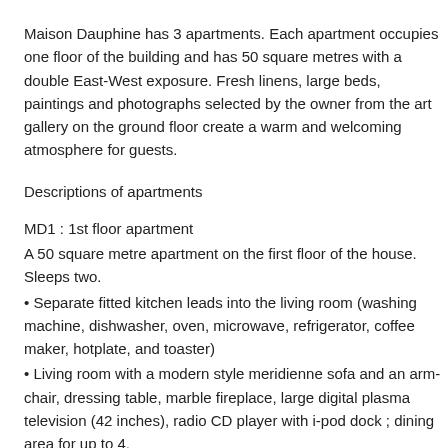Maison Dauphine has 3 apartments. Each apartment occupies one floor of the building and has 50 square metres with a double East-West exposure. Fresh linens, large beds, paintings and photographs selected by the owner from the art gallery on the ground floor create a warm and welcoming atmosphere for guests.
Descriptions of apartments
MD1 : 1st floor apartment
A 50 square metre apartment on the first floor of the house. Sleeps two.
• Separate fitted kitchen leads into the living room (washing machine, dishwasher, oven, microwave, refrigerator, coffee maker, hotplate, and toaster)
• Living room with a modern style meridienne sofa and an arm-chair, dressing table, marble fireplace, large digital plasma television (42 inches), radio CD player with i-pod dock ; dining area for up to 4.